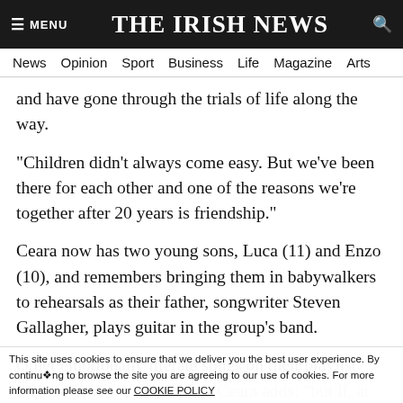≡ MENU   THE IRISH NEWS   🔍
News  Opinion  Sport  Business  Life  Magazine  Arts
and have gone through the trials of life along the way.
"Children didn't always come easy. But we've been there for each other and one of the reasons we're together after 20 years is friendship."
Ceara now has two young sons, Luca (11) and Enzo (10), and remembers bringing them in babywalkers to rehearsals as their father, songwriter Steven Gallagher, plays guitar in the group's band.
Other emotionally literate songs on their playlist include 'Yellow' by Coldplay. Ceara adds: "but if, at the beginning, we've classic musicals like
This site uses cookies to ensure that we deliver you the best user experience. By continuing to browse the site you are agreeing to our use of cookies. For more information please see our COOKIE POLICY